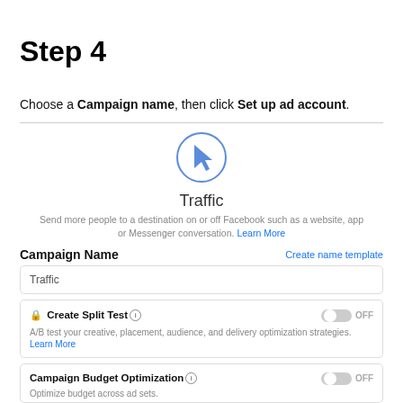Step 4
Choose a Campaign name, then click Set up ad account.
[Figure (screenshot): Facebook Ads Manager Traffic objective icon: a blue circle with a mouse cursor arrow inside, with 'Traffic' label below and description text.]
Send more people to a destination on or off Facebook such as a website, app or Messenger conversation. Learn More
Campaign Name
Traffic
Create Split Test (info) — toggle OFF. A/B test your creative, placement, audience, and delivery optimization strategies. Learn More
Campaign Budget Optimization (info) — toggle OFF. Optimize budget across ad sets.